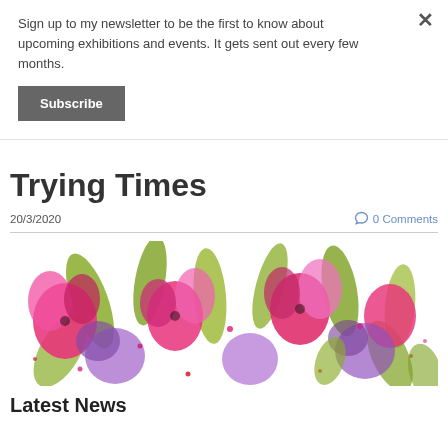Sign up to my newsletter to be the first to know about upcoming exhibitions and events. It gets sent out every few months.
Subscribe
Trying Times
20/3/2020
0 Comments
[Figure (photo): Colorful watercolor painting of pink and purple flowers with green leaves on white background]
Latest News